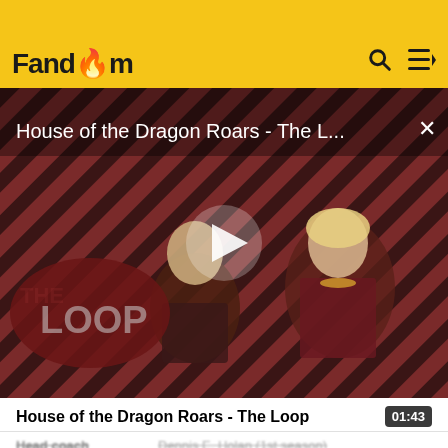Fandom
[Figure (screenshot): Video player showing 'House of the Dragon Roars - The L...' with a play button overlay, THE LOOP branding, and characters from the show on a diagonal striped background]
House of the Dragon Roars - The Loop
01:43
| Head coach | Dennis E. Holan (1st season) |
| Home stadium | The Plain |
Seasons
← 1901